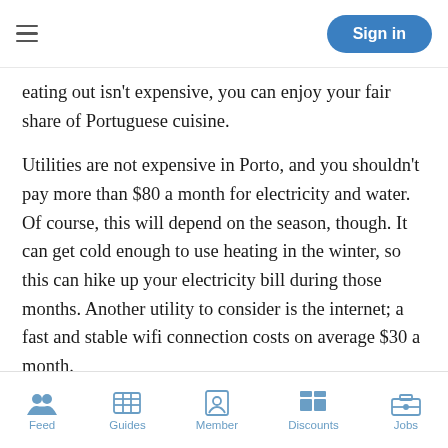Sign in
eating out isn't expensive, you can enjoy your fair share of Portuguese cuisine.
Utilities are not expensive in Porto, and you shouldn't pay more than $80 a month for electricity and water. Of course, this will depend on the season, though. It can get cold enough to use heating in the winter, so this can hike up your electricity bill during those months. Another utility to consider is the internet; a fast and stable wifi connection costs on average $30 a month.
In terms of leisure, going to a riverfront bar for a few drinks may cost around $20, a cinema ticket about $7, and monthly gym membership around $30. Your monthly leisure and
Feed  Guides  Member  Discounts  Jobs